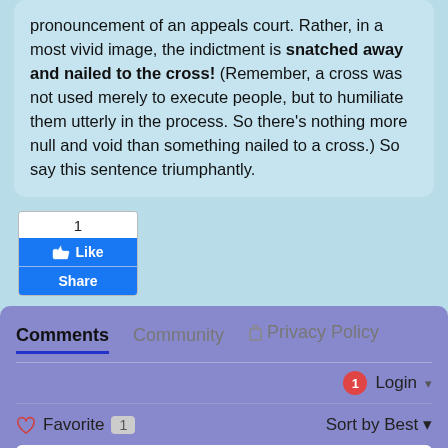pronouncement of an appeals court. Rather, in a most vivid image, the indictment is snatched away and nailed to the cross! (Remember, a cross was not used merely to execute people, but to humiliate them utterly in the process. So there's nothing more null and void than something nailed to a cross.) So say this sentence triumphantly.
[Figure (screenshot): Facebook Like and Share buttons with count of 1]
Comments   Community   Privacy Policy
Login
Favorite 1   Sort by Best
Join the discussion...
LOG IN WITH